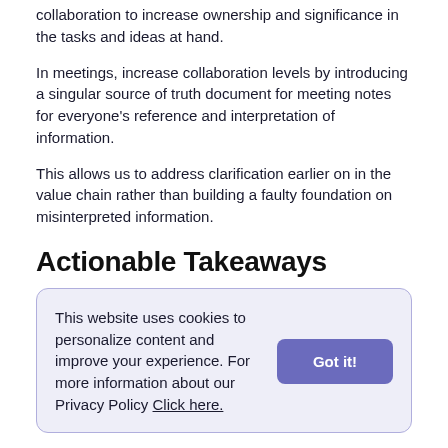collaboration to increase ownership and significance in the tasks and ideas at hand.
In meetings, increase collaboration levels by introducing a singular source of truth document for meeting notes for everyone's reference and interpretation of information.
This allows us to address clarification earlier on in the value chain rather than building a faulty foundation on misinterpreted information.
Actionable Takeaways
This website uses cookies to personalize content and improve your experience. For more information about our Privacy Policy Click here.